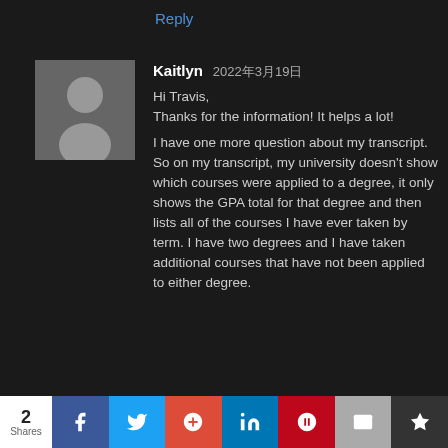Reply
[Figure (illustration): User avatar placeholder — grey silhouette of a person on a dark grey background]
Kaitlyn 2022年3月19日
Hi Travis,
Thanks for the information! It helps a lot!

I have one more question about my transcript. So on my transcript, my university doesn't show which courses were applied to a degree, it only shows the GPA total for that degree and then lists all of the courses I have ever taken by term. I have two degrees and I have taken additional courses that have not been applied to either degree.